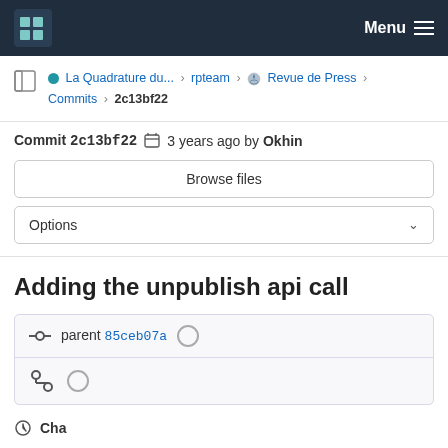Menu
La Quadrature du... > rpteam > Revue de Press > Commits > 2c13bf22
Commit 2c13bf22  3 years ago by Okhin
Browse files
Options
Adding the unpublish api call
parent 85ceb07a